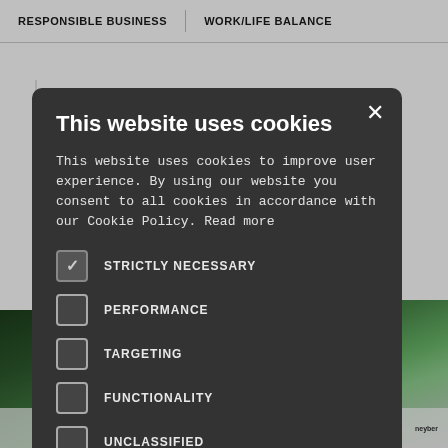RESPONSIBLE BUSINESS | WORK/LIFE BALANCE
[Figure (screenshot): Background website page with large bold text partially visible ('tal', 'ne Mad') and a green-tinted photo at the bottom, overlaid by a dark cookie consent modal dialog]
This website uses cookies
This website uses cookies to improve user experience. By using our website you consent to all cookies in accordance with our Cookie Policy. Read more
STRICTLY NECESSARY (checked)
PERFORMANCE
TARGETING
FUNCTIONALITY
UNCLASSIFIED
ACCEPT ALL | DECLINE ALL
SHOW DETAILS